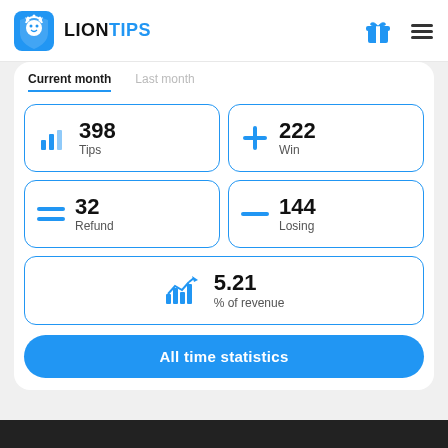LIONTIPS
Current month | Last month
398 Tips
222 Win
32 Refund
144 Losing
5.21 % of revenue
All time statistics